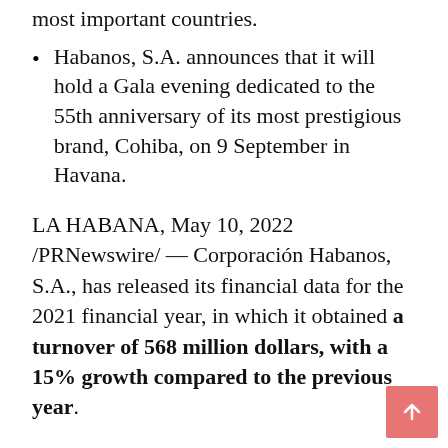most important countries.
Habanos, S.A. announces that it will hold a Gala evening dedicated to the 55th anniversary of its most prestigious brand, Cohiba, on 9 September in Havana.
LA HABANA, May 10, 2022 /PRNewswire/ — Corporación Habanos, S.A., has released its financial data for the 2021 financial year, in which it obtained a turnover of 568 million dollars, with a 15% growth compared to the previous year.